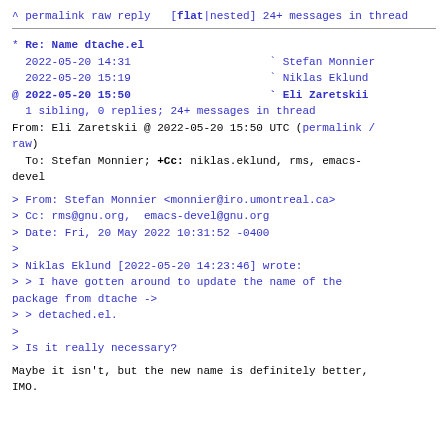^ permalink raw reply  [flat|nested] 24+ messages in thread
* Re: Name dtache.el
  2022-05-20 14:31                     ` Stefan Monnier
  2022-05-20 15:19                     ` Niklas Eklund
@ 2022-05-20 15:50                     ` Eli Zaretskii
  1 sibling, 0 replies; 24+ messages in thread
From: Eli Zaretskii @ 2022-05-20 15:50 UTC (permalink / raw)
  To: Stefan Monnier; +Cc: niklas.eklund, rms, emacs-devel
> From: Stefan Monnier <monnier@iro.umontreal.ca>
> Cc: rms@gnu.org,  emacs-devel@gnu.org
> Date: Fri, 20 May 2022 10:31:52 -0400
>
> Niklas Eklund [2022-05-20 14:23:46] wrote:
> > I have gotten around to update the name of the package from dtache ->
> > detached.el.
>
> Is it really necessary?
Maybe it isn't, but the new name is definitely better, IMO.